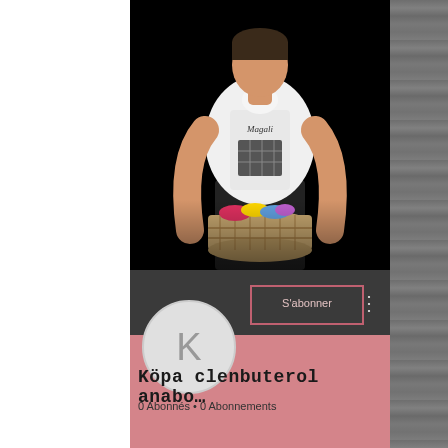[Figure (illustration): Cartoon illustration of a woman in a white apron labeled 'Magali' holding a laundry basket with colorful clothes, on a black background]
[Figure (screenshot): YouTube channel profile section with dark background, pink lower half, circular avatar with letter K, 'S'abonner' subscribe button, channel name 'Köpa clenbuterol anabo...' and stats '0 Abonnés • 0 Abonnements']
Köpa clenbuterol anabo…
0 Abonnés • 0 Abonnements